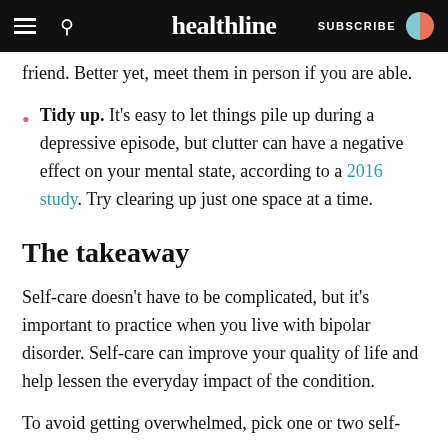healthline — SUBSCRIBE
friend. Better yet, meet them in person if you are able.
Tidy up. It's easy to let things pile up during a depressive episode, but clutter can have a negative effect on your mental state, according to a 2016 study. Try clearing up just one space at a time.
The takeaway
Self-care doesn't have to be complicated, but it's important to practice when you live with bipolar disorder. Self-care can improve your quality of life and help lessen the everyday impact of the condition.
To avoid getting overwhelmed, pick one or two self-